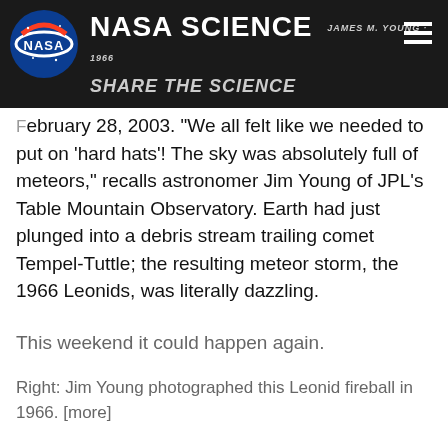NASA SCIENCE — SHARE THE SCIENCE
February 28, 2003. "We all felt like we needed to put on 'hard hats'! The sky was absolutely full of meteors," recalls astronomer Jim Young of JPL's Table Mountain Observatory. Earth had just plunged into a debris stream trailing comet Tempel-Tuttle; the resulting meteor storm, the 1966 Leonids, was literally dazzling.
This weekend it could happen again.
Right: Jim Young photographed this Leonid fireball in 1966. [more]
On March 1, 2003, around 2154 universal time (UT), our planet will encounter a stream of dusty comet debris "only 12,000 km from Earth. That's as close as